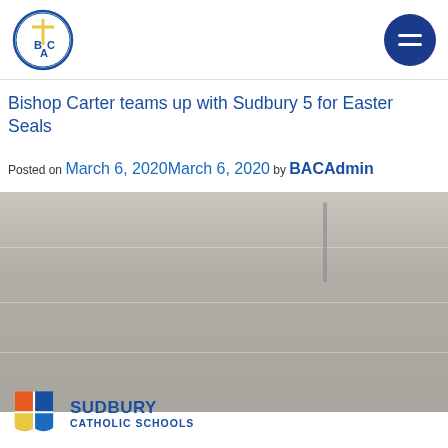BAC logo and navigation menu
Bishop Carter teams up with Sudbury 5 for Easter Seals
Posted on March 6, 2020March 6, 2020 by BACAdmin
[Figure (photo): Interior photo, likely a gymnasium or hallway with walls and a vertical structural element visible]
[Figure (logo): Sudbury Catholic Schools logo with shield icon and text SUDBURY CATHOLIC SCHOOLS]